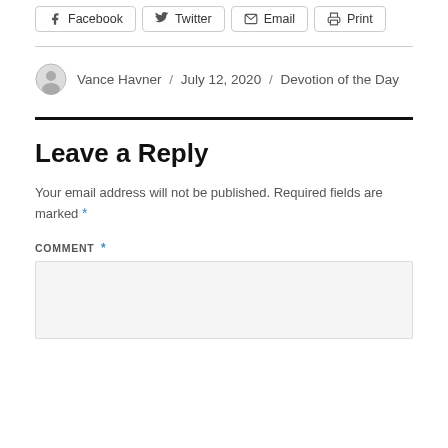Facebook  Twitter  Email  Print
Vance Havner / July 12, 2020 / Devotion of the Day
Leave a Reply
Your email address will not be published. Required fields are marked *
COMMENT *